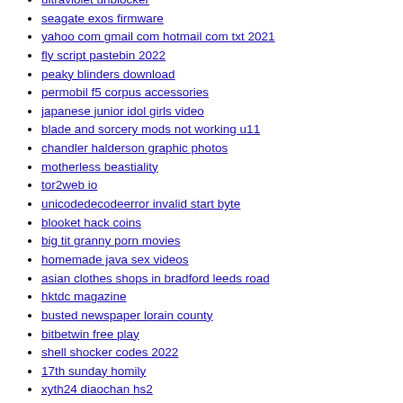ultraviolet unblocker
seagate exos firmware
yahoo com gmail com hotmail com txt 2021
fly script pastebin 2022
peaky blinders download
permobil f5 corpus accessories
japanese junior idol girls video
blade and sorcery mods not working u11
chandler halderson graphic photos
motherless beastiality
tor2web io
unicodedecodeerror invalid start byte
blooket hack coins
big tit granny porn movies
homemade java sex videos
asian clothes shops in bradford leeds road
hktdc magazine
busted newspaper lorain county
bitbetwin free play
shell shocker codes 2022
17th sunday homily
xyth24 diaochan hs2
nostradamus 2022 predictions
30 kw hub motor
relationship rules for her